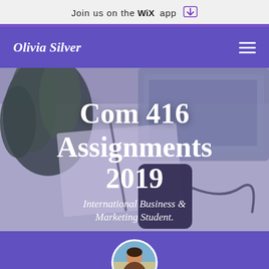Join us on the WiX app
Olivia Silver
[Figure (photo): Hero image of a desk with laptop, phone, plant, and notebook. Overlaid with 'Com 416 Assignments 2019' title and 'International Business & Marketing Student.' subtitle.]
[Figure (photo): Circular profile photo of a person outdoors.]